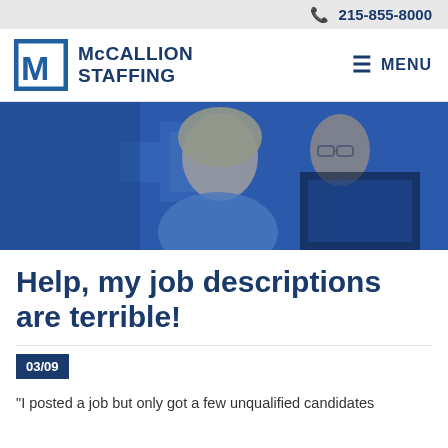215-855-8000
[Figure (logo): McCallion Staffing logo with stylized M icon and company name]
[Figure (photo): Two office workers, a smiling woman with blonde hair and a man with glasses, looking at a computer screen, with a blue tinted overlay]
Help, my job descriptions are terrible!
03/09
"I posted a job but only got a few unqualified candidates